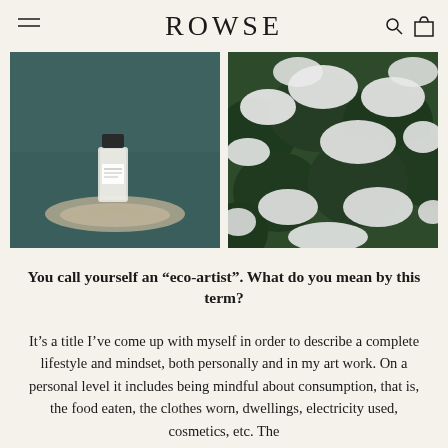ROWSE
[Figure (photo): A perfume/fragrance bottle with a label, resting on a feather-like natural material against a dark teal/green background]
[Figure (photo): Close-up of snow-covered dark green vegetation/moss or shrubs, aerial or close-up view]
You call yourself an “eco-artist”. What do you mean by this term?
It’s a title I’ve come up with myself in order to describe a complete lifestyle and mindset, both personally and in my art work. On a personal level it includes being mindful about consumption, that is, the food eaten, the clothes worn, dwellings, electricity used, cosmetics, etc. The